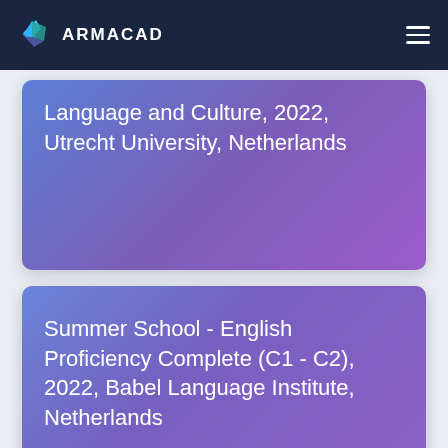ARMACAD
Language and Culture, 2022, Utrecht University, Netherlands
Summer School - English Proficiency Complete (C1 - C2), 2022, Babel Language Institute, Netherlands